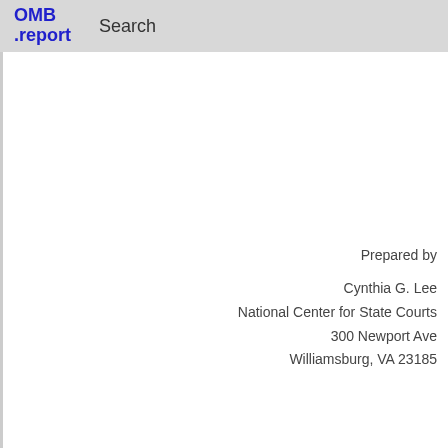OMB .report   Search
Prepared by

Cynthia G. Lee
National Center for State Courts
300 Newport Ave
Williamsburg, VA 23185